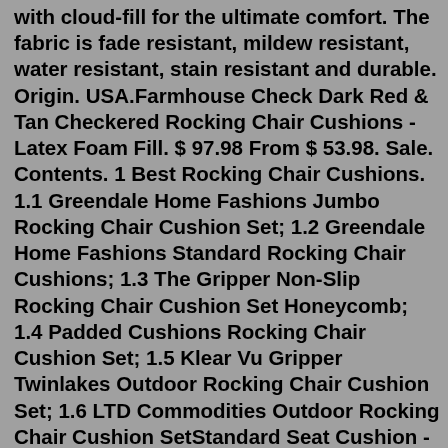with cloud-fill for the ultimate comfort. The fabric is fade resistant, mildew resistant, water resistant, stain resistant and durable. Origin. USA.Farmhouse Check Dark Red & Tan Checkered Rocking Chair Cushions - Latex Foam Fill. $ 97.98 From $ 53.98. Sale. Contents. 1 Best Rocking Chair Cushions. 1.1 Greendale Home Fashions Jumbo Rocking Chair Cushion Set; 1.2 Greendale Home Fashions Standard Rocking Chair Cushions; 1.3 The Gripper Non-Slip Rocking Chair Cushion Set Honeycomb; 1.4 Padded Cushions Rocking Chair Cushion Set; 1.5 Klear Vu Gripper Twinlakes Outdoor Rocking Chair Cushion Set; 1.6 LTD Commodities Outdoor Rocking Chair Cushion SetStandard Seat Cushion - 16.5"D x 20.13"W x 2.5"H. +6 fabric colors. $39.00. 4. All weather seat cushions for outdoor furniture serve a dual purpose: they provide a pop of color or contrast and enhance the comfort of an already relaxing place to sit. Of course, the water-resistant feature is crucial.Made to fit rocking chairs, but could be used